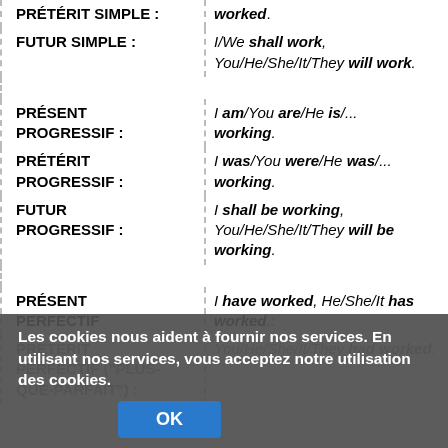| Tense | Example |
| --- | --- |
| PRÉTÉRIT SIMPLE : | I worked. |
| FUTUR SIMPLE : | I/We shall work, You/He/She/It/They will work. |
| PRÉSENT PROGRESSIF : | I am/You are/He is/... working. |
| PRÉTÉRIT PROGRESSIF : | I was/You were/He was/... working. |
| FUTUR PROGRESSIF : | I shall be working, You/He/She/It/They will be working. |
| PRÉSENT PERFECTIF | I have worked, He/She/It has worked.: |
| PRÉTÉRIT PERFECTIF ("PLUS-QUE-PARFAIT") : | You/He/She/It/They had worked. |
Les cookies nous aident à fournir nos services. En utilisant nos services, vous acceptez notre utilisation des cookies.